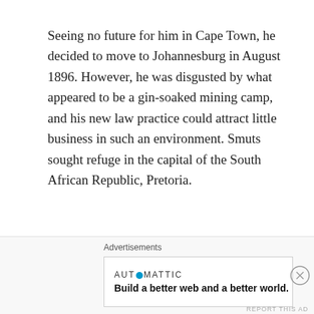Seeing no future for him in Cape Town, he decided to move to Johannesburg in August 1896. However, he was disgusted by what appeared to be a gin-soaked mining camp, and his new law practice could attract little business in such an environment. Smuts sought refuge in the capital of the South African Republic, Pretoria.
Through 1896, Smuts’ politics were turned on their head. He was transformed from being Rhodes’ most ardent supporter to being the most fervent opponent of British expansion.
Advertisements
AUTOMATTIC
Build a better web and a better world.